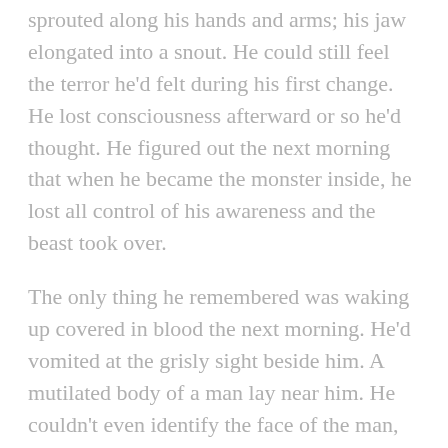sprouted along his hands and arms; his jaw elongated into a snout. He could still feel the terror he'd felt during his first change. He lost consciousness afterward or so he'd thought. He figured out the next morning that when he became the monster inside, he lost all control of his awareness and the beast took over.
The only thing he remembered was waking up covered in blood the next morning. He'd vomited at the grisly sight beside him. A mutilated body of a man lay near him. He couldn't even identify the face of the man, to know who he'd been, because his face had been torn to shreds and then gnawed on by some great animal. He'd gone to the nearby river to wash the blood away the best he could and made his way slowly toward home, where he'd snuck into his room to pack some of his things. He left a note for his parents telling them he was sorry, but he